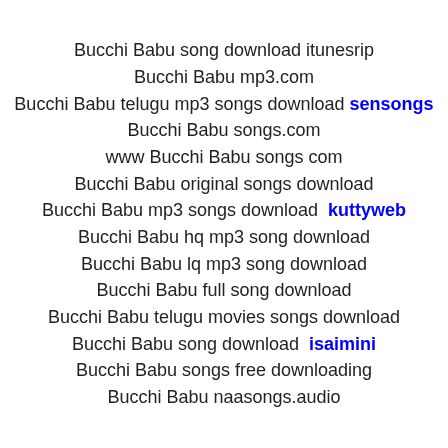Bucchi Babu song download itunesrip
Bucchi Babu mp3.com
Bucchi Babu telugu mp3 songs download sensongs
Bucchi Babu songs.com
www Bucchi Babu songs com
Bucchi Babu original songs download
Bucchi Babu mp3 songs download  kuttyweb
Bucchi Babu hq mp3 song download
Bucchi Babu lq mp3 song download
Bucchi Babu full song download
Bucchi Babu telugu movies songs download
Bucchi Babu song download  isaimini
Bucchi Babu songs free downloading
Bucchi Babu naasongs.audio